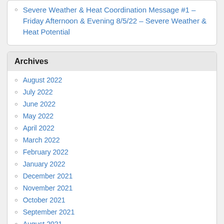Severe Weather & Heat Coordination Message #1 – Friday Afternoon & Evening 8/5/22 – Severe Weather & Heat Potential
Archives
August 2022
July 2022
June 2022
May 2022
April 2022
March 2022
February 2022
January 2022
December 2021
November 2021
October 2021
September 2021
August 2021